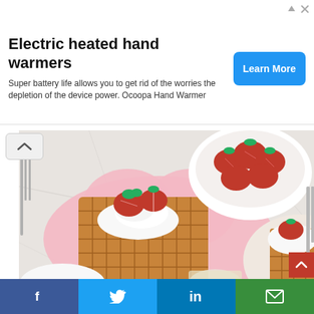[Figure (other): Advertisement banner: Electric heated hand warmers. Super battery life allows you to get rid of the worries the depletion of the device power. Ocoopa Hand Warmer. Learn More button.]
[Figure (photo): Photo of waffles on pink heart-shaped plate topped with whipped cream and sliced strawberries, with a bowl of fresh strawberries in the background, on a white marble surface.]
13. Simple Oat Waffle
If you love waffles, there is no need to exclude them from your